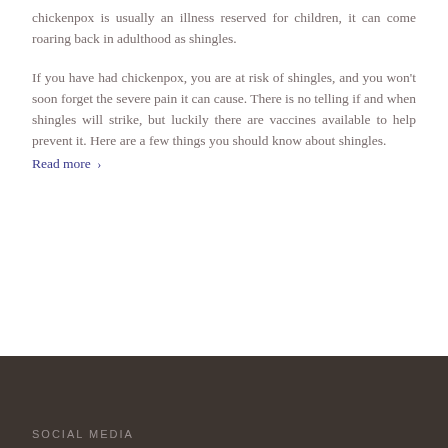chickenpox is usually an illness reserved for children, it can come roaring back in adulthood as shingles.
If you have had chickenpox, you are at risk of shingles, and you won't soon forget the severe pain it can cause. There is no telling if and when shingles will strike, but luckily there are vaccines available to help prevent it. Here are a few things you should know about shingles. Read more >
SOCIAL MEDIA